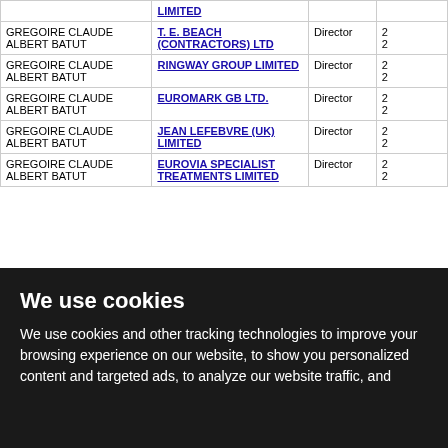| Name | Company | Role | Date |
| --- | --- | --- | --- |
|  | LIMITED |  |  |
| GREGOIRE CLAUDE ALBERT BATUT | T. E. BEACH (CONTRACTORS) LTD | Director | 2... |
| GREGOIRE CLAUDE ALBERT BATUT | RINGWAY GROUP LIMITED | Director | 2... |
| GREGOIRE CLAUDE ALBERT BATUT | EUROMARK GB LTD. | Director | 2... |
| GREGOIRE CLAUDE ALBERT BATUT | JEAN LEFEBVRE (UK) LIMITED | Director | 2... |
| GREGOIRE CLAUDE ALBERT BATUT | EUROVIA SPECIALIST TREATMENTS LIMITED | Director | 2... |
We use cookies
We use cookies and other tracking technologies to improve your browsing experience on our website, to show you personalized content and targeted ads, to analyze our website traffic, and